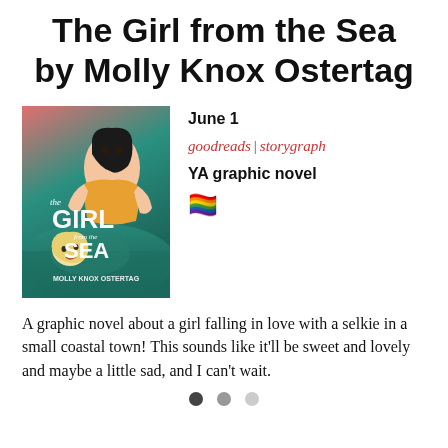The Girl from the Sea by Molly Knox Ostertag
[Figure (illustration): Book cover for 'The Girl from the Sea' by Molly Knox Ostertag, showing a dark-haired girl and a blonde girl in the sea, teal and coral tones, with the title in stylized white text]
June 1
goodreads | storygraph
YA graphic novel
🏳️‍🌈
A graphic novel about a girl falling in love with a selkie in a small coastal town! This sounds like it'll be sweet and lovely and maybe a little sad, and I can't wait.